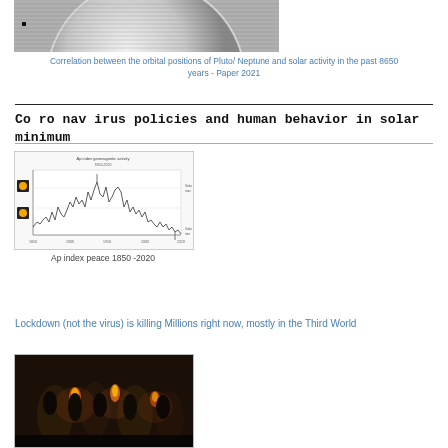[Figure (photo): Partial view of a spherical astronomical body (Pluto/Neptune) with horizontal scan lines, black and white image, cropped at top]
Correlation between the orbital positions of Pluto/ Neptune and solar activity in the past 8650 years - Paper 2021
Coronavirus policies and human behavior in solar minimum
[Figure (continuous-plot): Ap index peace 1850-2020 chart showing geomagnetic activity time series with solar icons on left]
Ap index peace 1850 -2020
Lockdown (not the virus) is killing Millions right now, mostly in the Third World
[Figure (photo): Dark scene showing people around fire/torches in what appears to be a dimly lit environment]